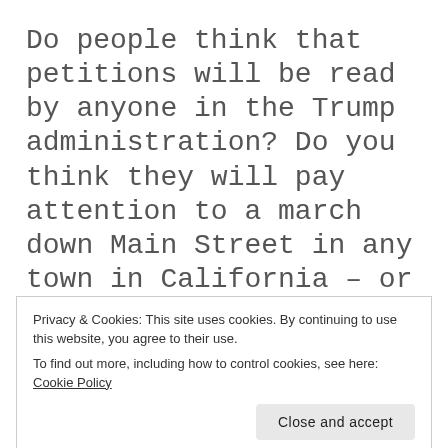Do people think that petitions will be read by anyone in the Trump administration? Do you think they will pay attention to a march down Main Street in any town in California – or New York, or Oregon? I said this to my friend D, who reminded me that public pressure – marches, petitions, speeches – changed the administration's view on Vietnam. The
Privacy & Cookies: This site uses cookies. By continuing to use this website, you agree to their use.
To find out more, including how to control cookies, see here: Cookie Policy
probably since Andrew Jackson came